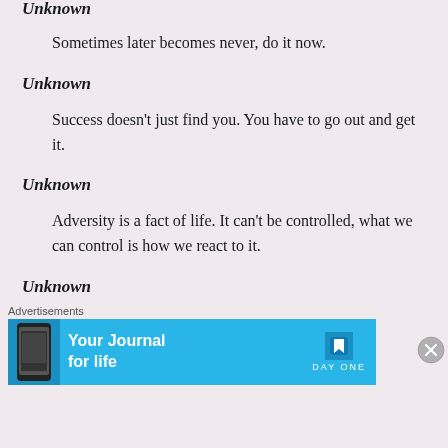Unknown
Sometimes later becomes never, do it now.
Unknown
Success doesn't just find you. You have to go out and get it.
Unknown
Adversity is a fact of life. It can't be controlled, what we can control is how we react to it.
Unknown
Advertisements
[Figure (infographic): Advertisement banner for Day One app with text 'Your Journal for life' and a phone graphic, on a blue background]